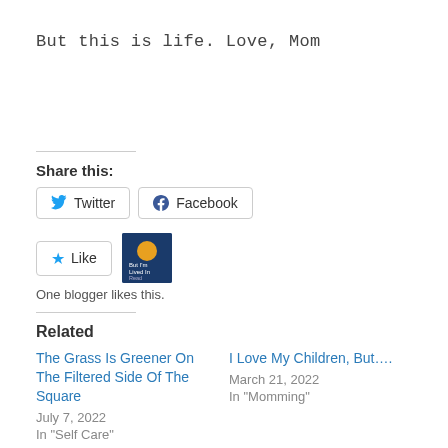But this is life. Love, Mom
Share this:
Twitter  Facebook
[Figure (other): WordPress Like button widget with star icon and a blogger avatar thumbnail. Text below reads: One blogger likes this.]
Related
The Grass Is Greener On The Filtered Side Of The Square
July 7, 2022
In "Self Care"

I Love My Children, But….
March 21, 2022
In "Momming"